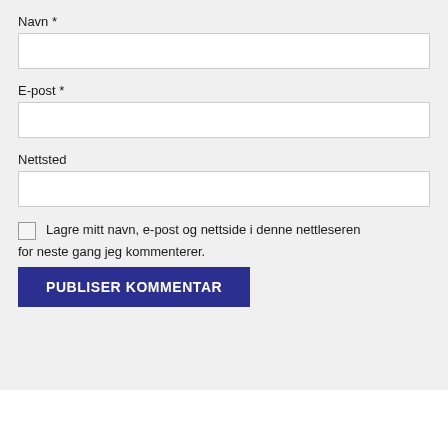Navn *
[Figure (other): Text input field for Navn (Name)]
E-post *
[Figure (other): Text input field for E-post (Email)]
Nettsted
[Figure (other): Text input field for Nettsted (Website)]
Lagre mitt navn, e-post og nettside i denne nettleseren for neste gang jeg kommenterer.
PUBLISER KOMMENTAR